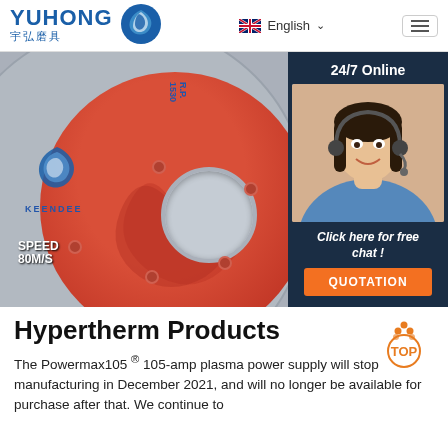YUHONG 宇弘磨具 | English
[Figure (photo): Close-up photo of a red and grey KEENDEE branded grinding/cutting wheel disc. Text on disc includes SPEED 80M/S, R.P. 1530, WARNING with safety text, ISO 9001 and MPA badges, barcode. Overlay on right side shows a customer service agent with '24/7 Online' text and a QUOTATION button.]
Hypertherm Products
The Powermax105 ® 105-amp plasma power supply will stop manufacturing in December 2021, and will no longer be available for purchase after that. We continue to